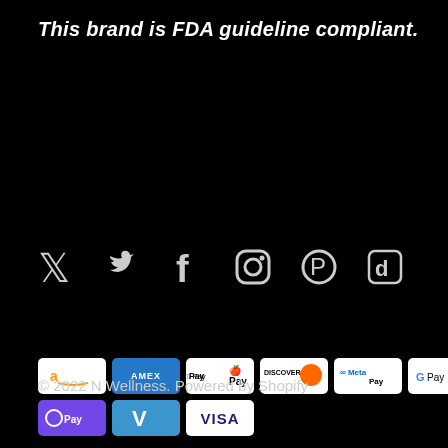This brand is FDA guideline compliant.
[Figure (illustration): Social media icons: Twitter, Facebook, Instagram, Pinterest, TikTok]
[Figure (illustration): Payment method badges: Amazon Pay, Amex, Apple Pay, Discover, Meta Pay, Google Pay, Mastercard, PayPal, OPay, Venmo, Visa]
© 2022 N Wellness. Powered by Shopify